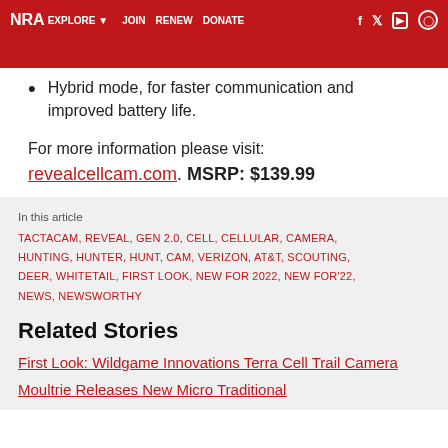NRA EXPLORE JOIN RENEW DONATE
Hybrid mode, for faster communication and improved battery life.
For more information please visit:
revealcellcam.com. MSRP: $139.99
In this article
TACTACAM, REVEAL, GEN 2.0, CELL, CELLULAR, CAMERA, HUNTING, HUNTER, HUNT, CAM, VERIZON, AT&T, SCOUTING, DEER, WHITETAIL, FIRST LOOK, NEW FOR 2022, NEW FOR'22, NEWS, NEWSWORTHY
Related Stories
First Look: Wildgame Innovations Terra Cell Trail Camera
Moultrie Releases New Micro Traditional